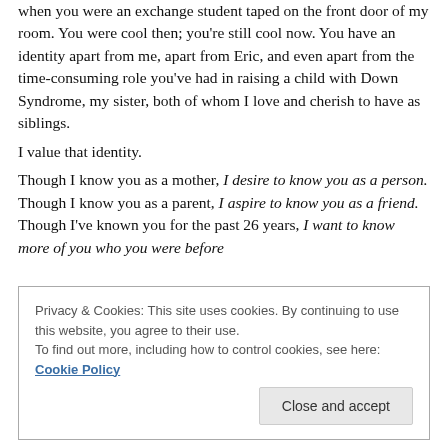when you were an exchange student taped on the front door of my room. You were cool then; you're still cool now. You have an identity apart from me, apart from Eric, and even apart from the time-consuming role you've had in raising a child with Down Syndrome, my sister, both of whom I love and cherish to have as siblings.
I value that identity.
Though I know you as a mother, I desire to know you as a person. Though I know you as a parent, I aspire to know you as a friend. Though I've known you for the past 26 years, I want to know more of you who you were before
Privacy & Cookies: This site uses cookies. By continuing to use this website, you agree to their use. To find out more, including how to control cookies, see here: Cookie Policy
Close and accept